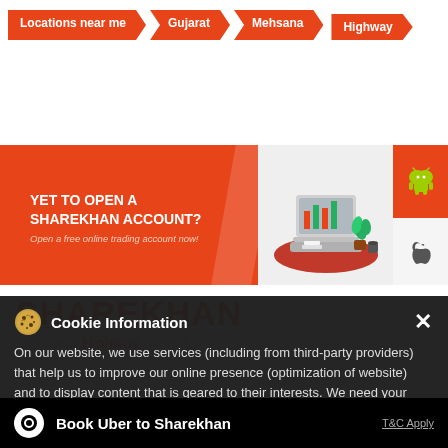Locations near me > Gujarat > Mehsana > Highway
[Figure (screenshot): Sharekhan orange promotional banner with text 'YET TO OPEN A SHAREKHAN ACCOUNT? Open a free online trading account now!' and illustration of laptop with plant, plus Android and Apple app icons on the right]
SHAREKHAN
Mehsana Highway Branch
On our website, we use services (including from third-party providers) that help us to improve our online presence (optimization of website) and to display content that is geared to their interests. We need your consent before being able to use these services.
Cookie Information
Book Uber to Sharekhan   T&C Apply